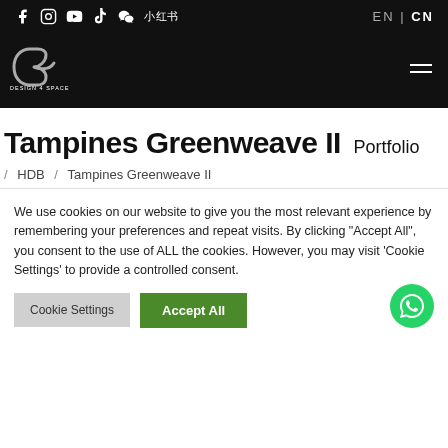Social icons: Facebook, Instagram, YouTube, TikTok, WeChat, Xiaohongshu | EN | CN
[Figure (logo): Design 4 Space Pte Ltd logo — stylized D/P letter mark in grey on black background with text DESIGN 4 SPACE PTE LTD below]
Tampines Greenweave II  Portfolio
/ HDB / Tampines Greenweave II
We use cookies on our website to give you the most relevant experience by remembering your preferences and repeat visits. By clicking "Accept All", you consent to the use of ALL the cookies. However, you may visit 'Cookie Settings' to provide a controlled consent.
Cookie Settings | Accept All